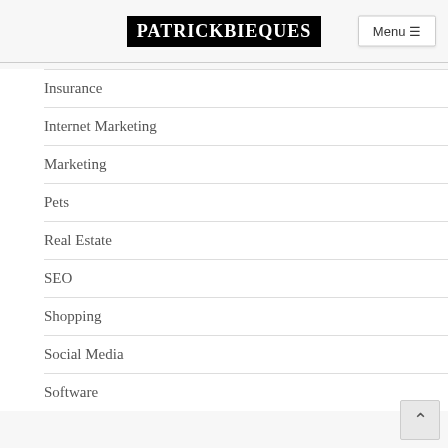PATRICKBIEQUES
Insurance
Internet Marketing
Marketing
Pets
Real Estate
SEO
Shopping
Social Media
Software